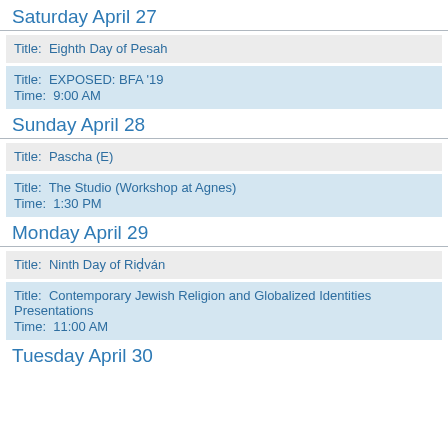Saturday April 27
Title:  Eighth Day of Pesah
Title:  EXPOSED: BFA '19
Time:  9:00 AM
Sunday April 28
Title:  Pascha (E)
Title:  The Studio (Workshop at Agnes)
Time:  1:30 PM
Monday April 29
Title:  Ninth Day of Riḍván
Title:  Contemporary Jewish Religion and Globalized Identities Presentations
Time:  11:00 AM
Tuesday April 30